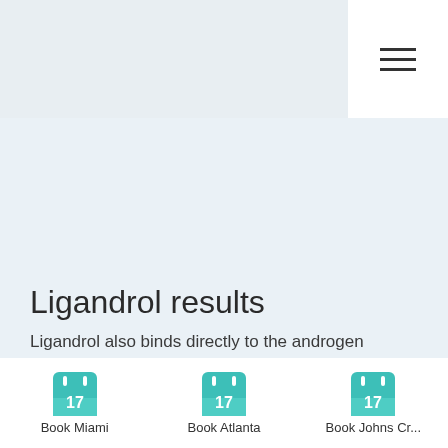[Figure (other): Hamburger menu icon (three horizontal lines) in white box in top-right corner]
Ligandrol results
Ligandrol also binds directly to the androgen receptors causing more satisfactory results in gaining strength and big amounts of muscle mass.
So far the evidence shows that the use of
[Figure (other): Calendar icon with number 17, teal background, labeled 'Book Miami']
[Figure (other): Calendar icon with number 17, teal background, labeled 'Book Atlanta']
[Figure (other): Calendar icon with number 17, teal background, labeled 'Book Johns Cr...']